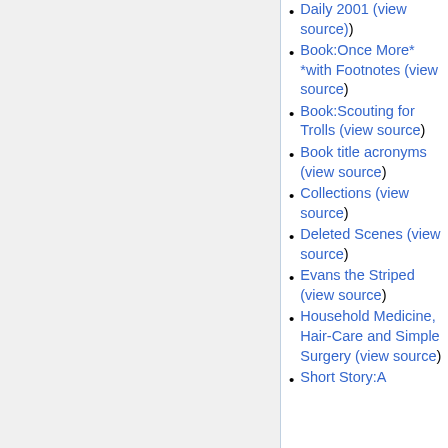Daily 2001 (view source)
Book:Once More* *with Footnotes (view source)
Book:Scouting for Trolls (view source)
Book title acronyms (view source)
Collections (view source)
Deleted Scenes (view source)
Evans the Striped (view source)
Household Medicine, Hair-Care and Simple Surgery (view source)
Short Story:A